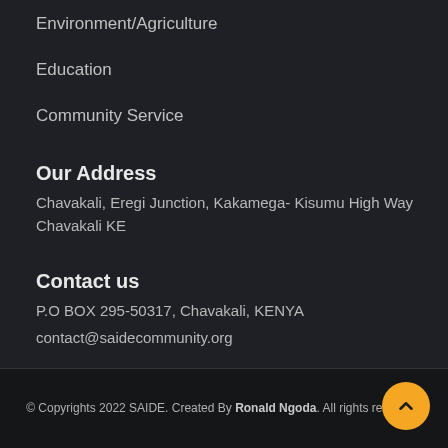Environment/Agriculture
Education
Community Service
Our Address
Chavakali, Eregi Junction, Kakamega- Kisumu High Way Chavakali KE
Contact us
P.O BOX 295-50317, Chavakali, KENYA
contact@saidecommunity.org
© Copyrights 2022 SAIDE. Created By Ronald Ngoda. All rights reserved.